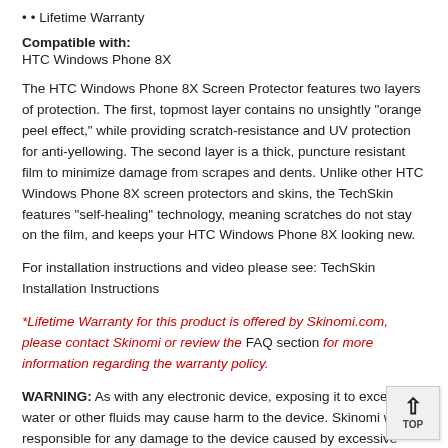• Lifetime Warranty
Compatible with:
HTC Windows Phone 8X
The HTC Windows Phone 8X Screen Protector features two layers of protection. The first, topmost layer contains no unsightly "orange peel effect," while providing scratch-resistance and UV protection for anti-yellowing. The second layer is a thick, puncture resistant film to minimize damage from scrapes and dents. Unlike other HTC Windows Phone 8X screen protectors and skins, the TechSkin features "self-healing" technology, meaning scratches do not stay on the film, and keeps your HTC Windows Phone 8X looking new.
For installation instructions and video please see: TechSkin Installation Instructions
*Lifetime Warranty for this product is offered by Skinomi.com, please contact Skinomi or review the FAQ section for more information regarding the warranty policy.
WARNING: As with any electronic device, exposing it to excessive water or other fluids may cause harm to the device. Skinomi will not responsible for any damage to the device caused by excessive water